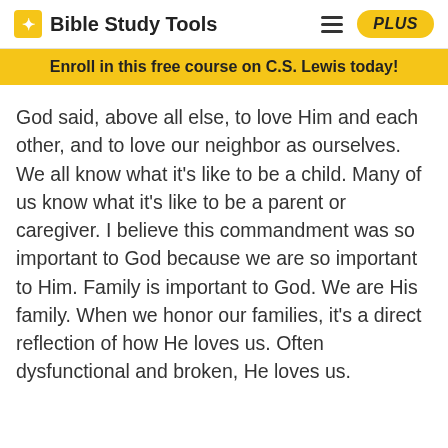Bible Study Tools
Enroll in this free course on C.S. Lewis today!
God said, above all else, to love Him and each other, and to love our neighbor as ourselves. We all know what it's like to be a child. Many of us know what it's like to be a parent or caregiver. I believe this commandment was so important to God because we are so important to Him. Family is important to God. We are His family. When we honor our families, it's a direct reflection of how He loves us. Often dysfunctional and broken, He loves us.